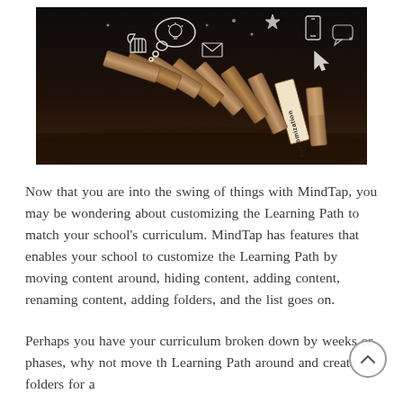[Figure (photo): Photo of falling domino blocks on a dark background with chalk-drawn icons (thought bubble, thumbs up, email, phone, cursor, etc.) above them. A vertical label reading 'customization' appears on a domino.]
Now that you are into the swing of things with MindTap, you may be wondering about customizing the Learning Path to match your school's curriculum. MindTap has features that enables your school to customize the Learning Path by moving content around, hiding content, adding content, renaming content, adding folders, and the list goes on.
Perhaps you have your curriculum broken down by weeks or phases, why not move th Learning Path around and create folders for a